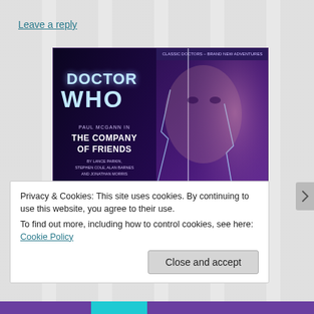Leave a reply
[Figure (illustration): Doctor Who - The Company of Friends audiobook cover featuring Paul McGann. Shows the Doctor Who logo in silver/blue at top left, text 'PAUL McGANN IN THE COMPANY OF FRIENDS BY LANCE PARKIN, STEPHEN COLE, ALAN BARNES AND JONATHAN MORRIS'. Right side shows a large face with lightning, and four companions in foreground. Purple/blue color scheme. Top banner reads 'CLASSIC DOCTORS – BRAND NEW ADVENTURES'.]
Privacy & Cookies: This site uses cookies. By continuing to use this website, you agree to their use.
To find out more, including how to control cookies, see here: Cookie Policy
Close and accept